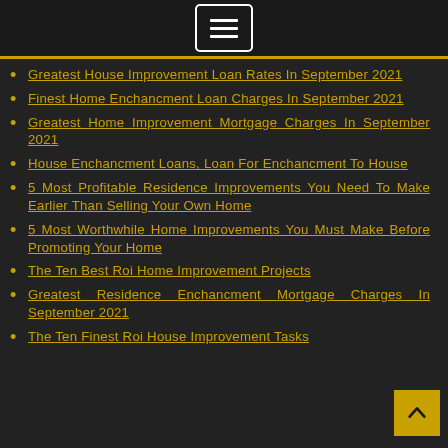[Figure (other): Hamburger menu button icon (three horizontal lines in a rounded rectangle border)]
Greatest House Improvement Loan Rates In September 2021
Finest Home Enchancment Loan Charges In September 2021
Greatest Home Improvement Mortgage Charges In September 2021
House Enchancment Loans, Loan For Enchancment To House
5 Most Profitable Residence Improvements You Need To Make Earlier Than Selling Your Own Home
5 Most Worthwhile Home Improvements You Must Make Before Promoting Your Home
The Ten Best Roi Home Improvement Projects
Greatest Residence Enchancment Mortgage Charges In September 2021
The Ten Finest Roi House Improvement Tasks